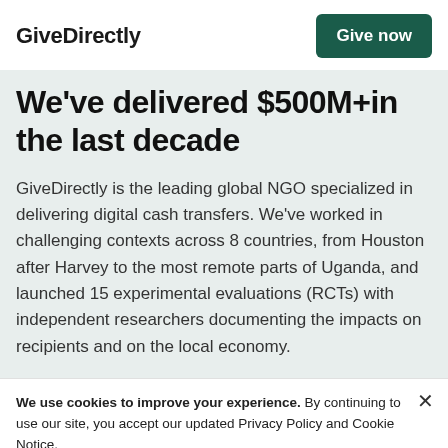GiveDirectly
We've delivered $500M+in the last decade
GiveDirectly is the leading global NGO specialized in delivering digital cash transfers. We've worked in challenging contexts across 8 countries, from Houston after Harvey to the most remote parts of Uganda, and launched 15 experimental evaluations (RCTs) with independent researchers documenting the impacts on recipients and on the local economy.
We use cookies to improve your experience. By continuing to use our site, you accept our updated Privacy Policy and Cookie Notice. Learn more about our Privacy Policy